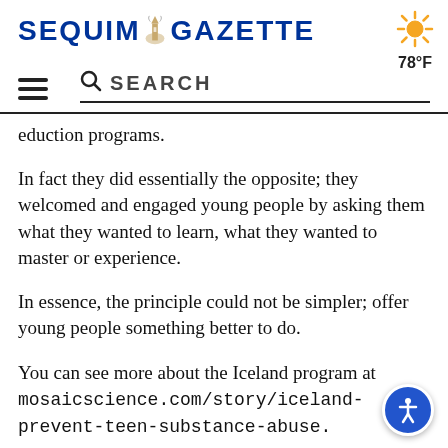SEQUIM GAZETTE | 78°F | SEARCH
eduction programs.
In fact they did essentially the opposite; they welcomed and engaged young people by asking them what they wanted to learn, what they wanted to master or experience.
In essence, the principle could not be simpler; offer young people something better to do.
You can see more about the Iceland program at mosaicscience.com/story/iceland-prevent-teen-substance-abuse.